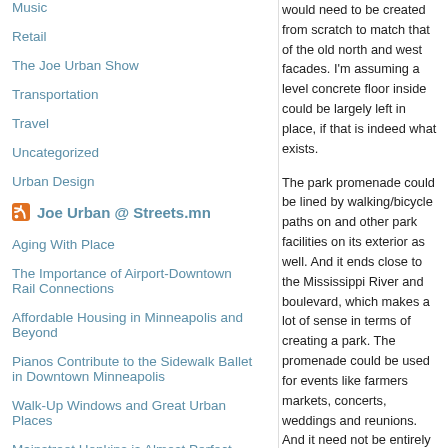Music
Retail
The Joe Urban Show
Transportation
Travel
Uncategorized
Urban Design
Joe Urban @ Streets.mn
Aging With Place
The Importance of Airport-Downtown Rail Connections
Affordable Housing in Minneapolis and Beyond
Pianos Contribute to the Sidewalk Ballet in Downtown Minneapolis
Walk-Up Windows and Great Urban Places
Mainstreet Hopkins is Almost Perfect
would need to be created from scratch to match that of the old north and west facades. I'm assuming a level concrete floor inside could be largely left in place, if that is indeed what exists.
The park promenade could be lined by walking/bicycle paths on and other park facilities on its exterior as well. And it ends close to the Mississippi River and boulevard, which makes a lot of sense in terms of creating a park. The promenade could be used for events like farmers markets, concerts, weddings and reunions. And it need not be entirely open air, either, and could be partially enclosed